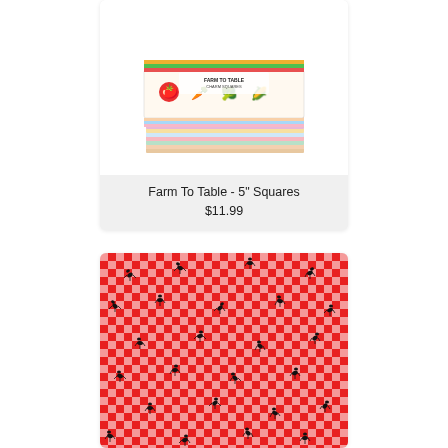[Figure (photo): Farm To Table charm squares fabric pack — stacked colorful fabric squares with vegetable motifs, in a product packaging labeled 'Charm Squares']
Farm To Table - 5" Squares
$11.99
[Figure (photo): Red and white gingham check fabric with small black ant motifs scattered across the pattern]